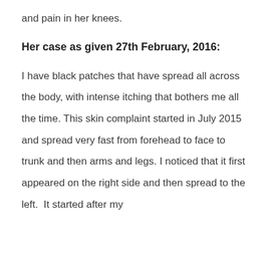and pain in her knees.
Her case as given 27th February, 2016:
I have black patches that have spread all across the body, with intense itching that bothers me all the time. This skin complaint started in July 2015 and spread very fast from forehead to face to trunk and then arms and legs. I noticed that it first appeared on the right side and then spread to the left.  It started after my